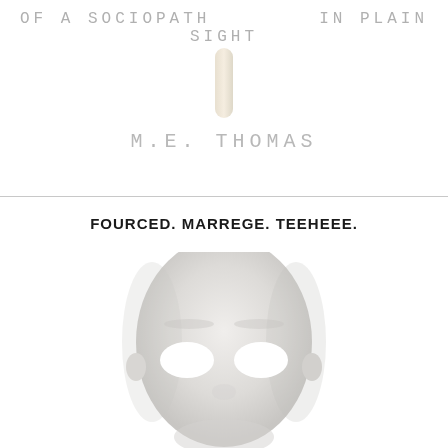OF A SOCIOPATH   IN PLAIN SIGHT
[Figure (illustration): A pale beige/cream colored pill or capsule shape, standing vertically, centered between the two halves of the title text]
M.E. THOMAS
FOURCED. MARREGE. TEEHEEE.
[Figure (illustration): A white featureless mannequin-like face/mask with empty white eye sockets, bald head, looking slightly upward, centered in the lower half of the page]